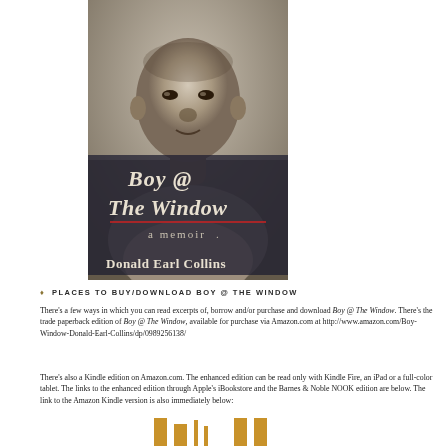[Figure (photo): Book cover of 'Boy @ The Window: A Memoir' by Donald Earl Collins. Black and white photo of a young Black boy on the cover with the title in dark serif text and author name at the bottom.]
♦ PLACES TO BUY/DOWNLOAD BOY @ THE WINDOW
There's a few ways in which you can read excerpts of, borrow and/or purchase and download Boy @ The Window. There's the trade paperback edition of Boy @ The Window, available for purchase via Amazon.com at http://www.amazon.com/Boy-Window-Donald-Earl-Collins/dp/0989256138/
There's also a Kindle edition on Amazon.com. The enhanced edition can be read only with Kindle Fire, an iPad or a full-color tablet. The links to the enhanced edition through Apple's iBookstore and the Barnes & Noble NOOK edition are below. The link to the Amazon Kindle version is also immediately below:
[Figure (illustration): Partial view of golden/amber colored bar chart or icon bars at the bottom of the page]